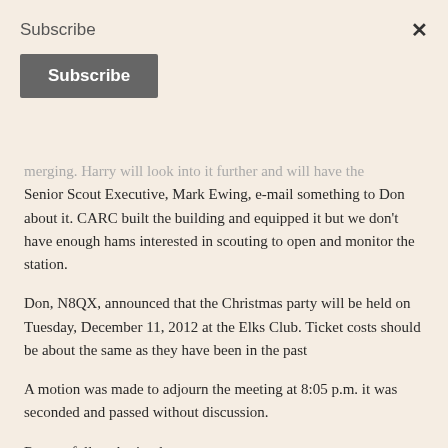Subscribe
Subscribe (button)
merging. Harry will look into it further and will have the Senior Scout Executive, Mark Ewing, e-mail something to Don about it. CARC built the building and equipped it but we don't have enough hams interested in scouting to open and monitor the station.
Don, N8QX, announced that the Christmas party will be held on Tuesday, December 11, 2012 at the Elks Club. Ticket costs should be about the same as they have been in the past
A motion was made to adjourn the meeting at 8:05 p.m. it was seconded and passed without discussion.
Respectfully submitted,
David J Wilcox, K8WPE
CARC Secretary